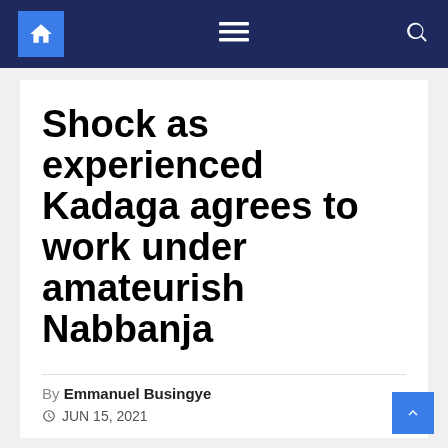Navigation bar with home, menu, and search icons
Shock as experienced Kadaga agrees to work under amateurish Nabbanja
By Emmanuel Busingye
JUN 15, 2021